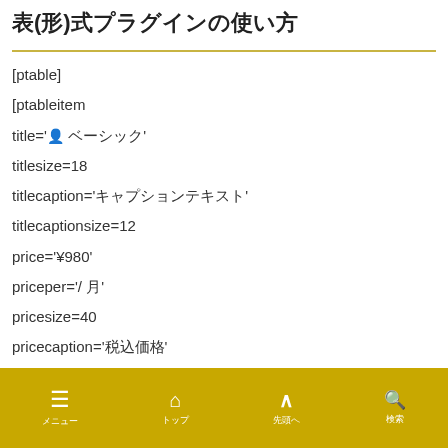表(形)式プラグインの使い方
[ptable]
[ptableitem
title='👤 ベーシック'
titlesize=18
titlecaption='キャプションテキスト'
titlecaptionsize=12
price='¥980'
priceper='/ 月'
pricesize=40
pricecaption='税込価格'
row1='🅦 WordPress 1サイトまで'
メニュー　　トップ　　先頭へ　　検索